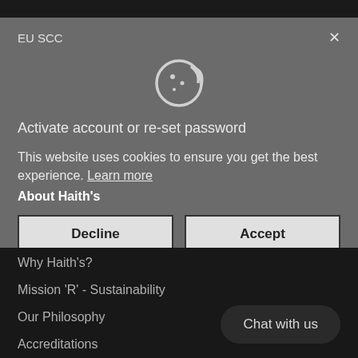EU SCC
[Figure (illustration): Cookie icon (circular cookie with bite taken out and dots)]
Activate account or re-set password
This website uses cookies to ensure you get the best experience. Learn more
About Haith's
Decline
Accept
About Us
Why Haith's?
Mission 'R' - Sustainability
Our Philosophy
Accreditations
Chat with us